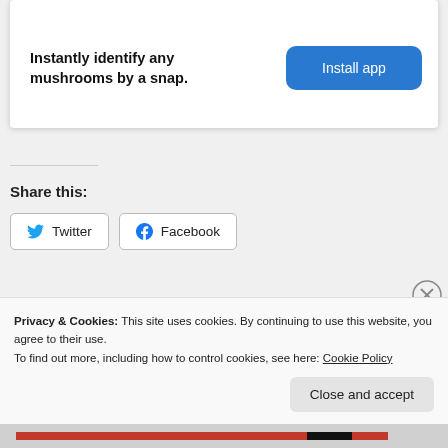[Figure (screenshot): Advertisement card with text 'Instantly identify any mushrooms by a snap.' and a blue 'Install app' button]
Share this:
[Figure (screenshot): Twitter share button]
[Figure (screenshot): Facebook share button]
[Figure (screenshot): Like button with blue star and a thumbnail image]
Privacy & Cookies: This site uses cookies. By continuing to use this website, you agree to their use.
To find out more, including how to control cookies, see here: Cookie Policy
Close and accept